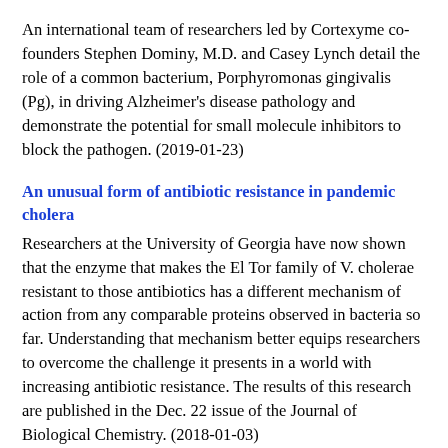An international team of researchers led by Cortexyme co-founders Stephen Dominy, M.D. and Casey Lynch detail the role of a common bacterium, Porphyromonas gingivalis (Pg), in driving Alzheimer's disease pathology and demonstrate the potential for small molecule inhibitors to block the pathogen. (2019-01-23)
An unusual form of antibiotic resistance in pandemic cholera
Researchers at the University of Georgia have now shown that the enzyme that makes the El Tor family of V. cholerae resistant to those antibiotics has a different mechanism of action from any comparable proteins observed in bacteria so far. Understanding that mechanism better equips researchers to overcome the challenge it presents in a world with increasing antibiotic resistance. The results of this research are published in the Dec. 22 issue of the Journal of Biological Chemistry. (2018-01-03)